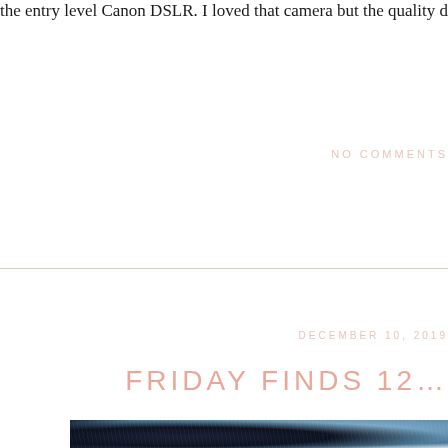the entry level Canon DSLR. I loved that camera but the quality differ...
NO COMMENTS
DECEMBER 10, 2019
FRIDAY FINDS 12...
[Figure (photo): Close-up photo showing a person wearing dark top and light blue denim jeans, cropped to show the midsection area]